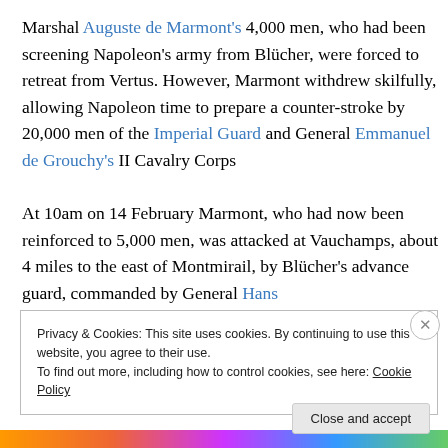Marshal Auguste de Marmont's 4,000 men, who had been screening Napoleon's army from Blücher, were forced to retreat from Vertus. However, Marmont withdrew skilfully, allowing Napoleon time to prepare a counter-stroke by 20,000 men of the Imperial Guard and General Emmanuel de Grouchy's II Cavalry Corps
At 10am on 14 February Marmont, who had now been reinforced to 5,000 men, was attacked at Vauchamps, about 4 miles to the east of Montmirail, by Blücher's advance guard, commanded by General Hans
Privacy & Cookies: This site uses cookies. By continuing to use this website, you agree to their use.
To find out more, including how to control cookies, see here: Cookie Policy
Close and accept